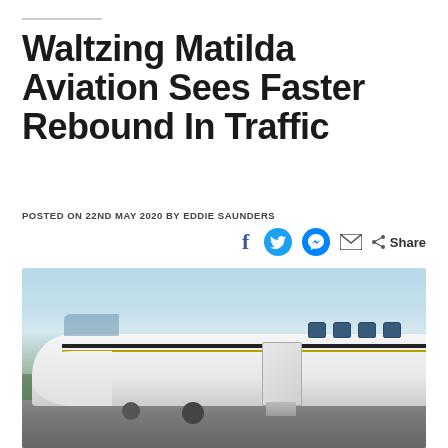Waltzing Matilda Aviation Sees Faster Rebound In Traffic
POSTED ON 22ND MAY 2020 BY EDDIE SAUNDERS
[Figure (photo): A white private jet with door open and airstair extended, parked on a tarmac with light pole and trees in background under a blue sky.]